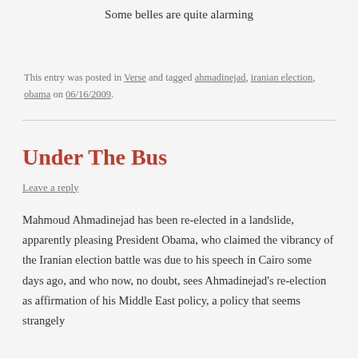Some belles are quite alarming
This entry was posted in Verse and tagged ahmadinejad, iranian election, obama on 06/16/2009.
Under The Bus
Leave a reply
Mahmoud Ahmadinejad has been re-elected in a landslide, apparently pleasing President Obama, who claimed the vibrancy of the Iranian election battle was due to his speech in Cairo some days ago, and who now, no doubt, sees Ahmadinejad's re-election as affirmation of his Middle East policy, a policy that seems strangely